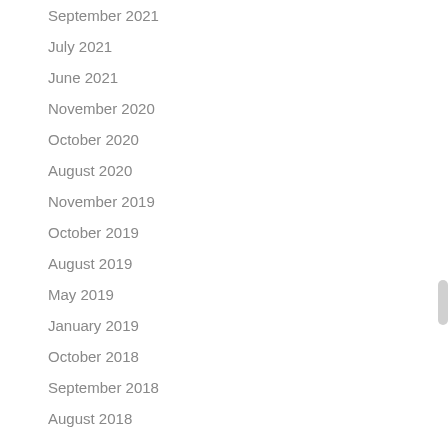September 2021
July 2021
June 2021
November 2020
October 2020
August 2020
November 2019
October 2019
August 2019
May 2019
January 2019
October 2018
September 2018
August 2018